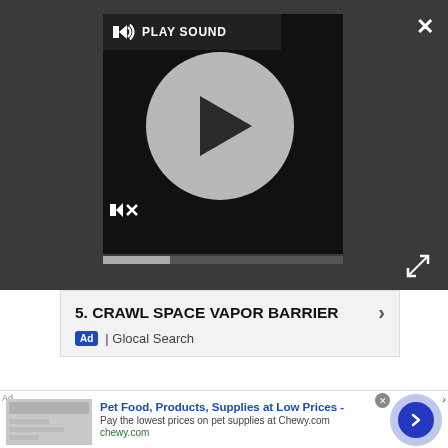[Figure (screenshot): Dark themed video player with play button circle, PLAY SOUND label, speaker/mute icons, and progress bar]
PLAY SOUND
[Figure (screenshot): Advertisement banner: '5. CRAWL SPACE VAPOR BARRIER' with chevron, Ad badge, Glocal Search]
5.  CRAWL SPACE VAPOR BARRIER
Ad | Glocal Search
Nadia and the handful of children in the audience have lived their whole lives in a world where humans have always been on Mars, and have known for certain that planets exist around other stars: The first exoplanet discovery happened in 1995, and two years
[Figure (screenshot): Bottom advertisement: Pet Food, Products, Supplies at Low Prices - Chewy.com, with thumbnail image and blue circle arrow button]